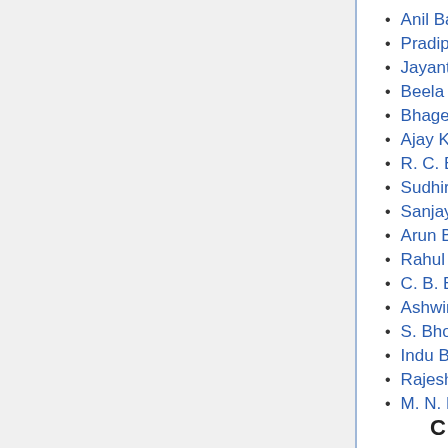Anil Baijal
Pradip Baijal
Jayant Kumar Banthia
Beela Rajesh
Bhagey Gobardhan
Ajay Kumar Bhalla
R. C. Bhargava
Sudhir Bhargava
Sanjay Bhatia (civil servant)
Arun Bhatnagar
Rahul Bhatnagar
C. B. Bhave
Ashwini Bhide
S. Bhoothalingam
Indu Bhushan
Rajesh Bhushan
M. N. Buch
C